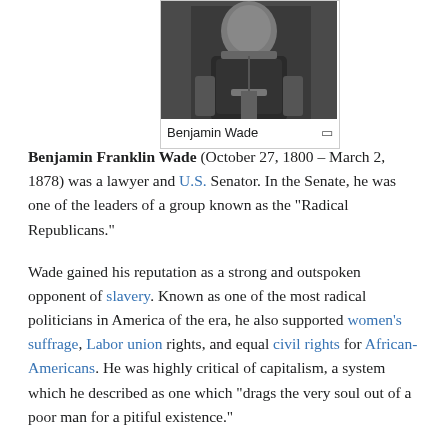[Figure (photo): Black and white photograph of Benjamin Wade, cropped to show upper body]
Benjamin Wade
Benjamin Franklin Wade (October 27, 1800 – March 2, 1878) was a lawyer and U.S. Senator. In the Senate, he was one of the leaders of a group known as the "Radical Republicans."
Wade gained his reputation as a strong and outspoken opponent of slavery. Known as one of the most radical politicians in America of the era, he also supported women's suffrage, Labor union rights, and equal civil rights for African-Americans. He was highly critical of capitalism, a system which he described as one which "drags the very soul out of a poor man for a pitiful existence."
Known for his blunt direct style, he was described as "a...